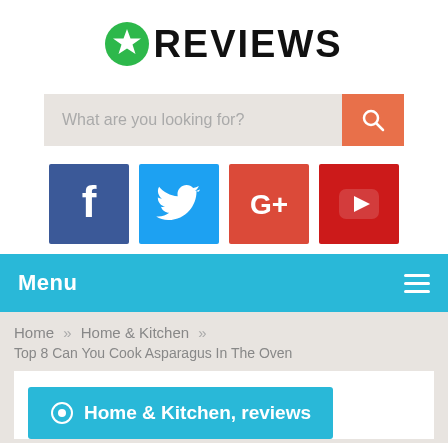REVIEWS
[Figure (screenshot): Search bar with placeholder text 'What are you looking for?' and an orange search button with magnifying glass icon]
[Figure (infographic): Social media icons: Facebook (dark blue), Twitter (light blue), Google+ (red-orange), YouTube (red)]
Menu
Home » Home & Kitchen » Top 8 Can You Cook Asparagus In The Oven
Home & Kitchen, reviews